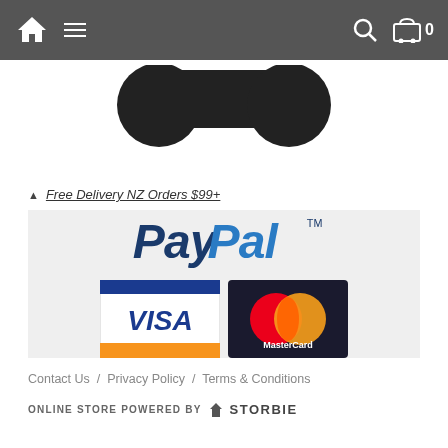Navigation bar with home icon, hamburger menu, search icon, cart icon with 0
[Figure (illustration): Partial view of a dark silhouette image (shopping cart or vehicle icon) at the top of the page]
▲ Free Delivery NZ Orders $99+
[Figure (logo): PayPal logo in dark blue italic font with TM mark, and below it Visa and MasterCard payment logos on a light gray background]
Contact Us / Privacy Policy / Terms & Conditions
ONLINE STORE POWERED BY STORBIE